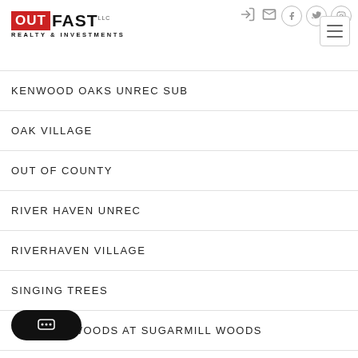OUTFAST LLC REALTY & INVESTMENTS
KENWOOD OAKS UNREC SUB
OAK VILLAGE
OUT OF COUNTY
RIVER HAVEN UNREC
RIVERHAVEN VILLAGE
SINGING TREES
WOODS AT SUGARMILL WOODS